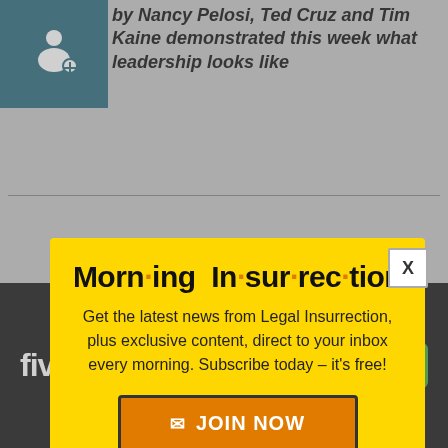by Nancy Pelosi, Ted Cruz and Tim Kaine demonstrated this week what leadership looks like
[Figure (infographic): Morning Insurrection newsletter popup modal with yellow background, bold title 'Morn·ing In·sur·rec·tion', subscription call-to-action text, and orange JOIN NOW button]
Get the latest news from Legal Insurrection, plus exclusive content, direct to your inbox every morning. Subscribe today – it's free!
JOIN NOW
[Figure (logo): Fiverr advertisement banner at the bottom with white fiverr logo and green Start Now button]